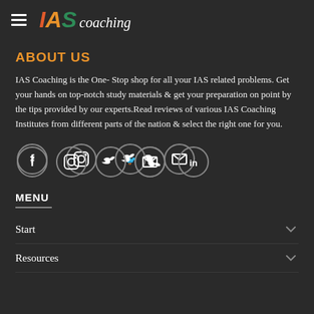IAS coaching
ABOUT US
IAS Coaching is the One- Stop shop for all your IAS related problems. Get your hands on top-notch study materials & get your preparation on point by the tips provided by our experts.Read reviews of various IAS Coaching Institutes from different parts of the nation & select the right one for you.
[Figure (other): Row of 6 social media icons in circles: Facebook, Instagram, Twitter, Email, Phone, LinkedIn]
MENU
Start
Resources